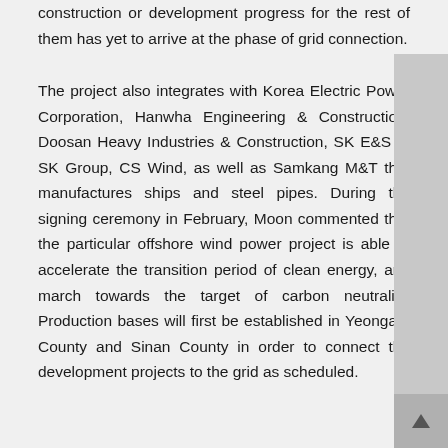construction or development progress for the rest of them has yet to arrive at the phase of grid connection.
The project also integrates with Korea Electric Power Corporation, Hanwha Engineering & Construction, Doosan Heavy Industries & Construction, SK E&S of SK Group, CS Wind, as well as Samkang M&T that manufactures ships and steel pipes. During the signing ceremony in February, Moon commented that the particular offshore wind power project is able to accelerate the transition period of clean energy, and march towards the target of carbon neutrality. Production bases will first be established in Yeongam County and Sinan County in order to connect the development projects to the grid as scheduled.